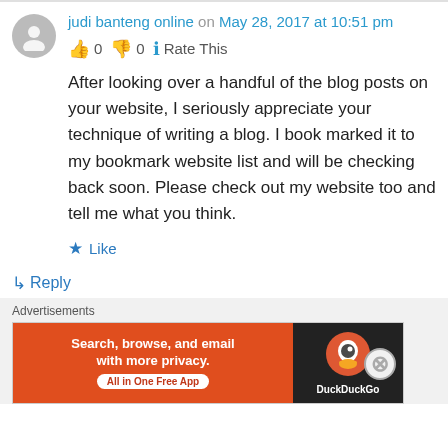judi banteng online on May 28, 2017 at 10:51 pm
👍 0 👎 0 ℹ Rate This
After looking over a handful of the blog posts on your website, I seriously appreciate your technique of writing a blog. I book marked it to my bookmark website list and will be checking back soon. Please check out my website too and tell me what you think.
★ Like
↳ Reply
Advertisements
[Figure (other): DuckDuckGo advertisement banner: orange background with text 'Search, browse, and email with more privacy. All in One Free App' and DuckDuckGo logo on dark background]